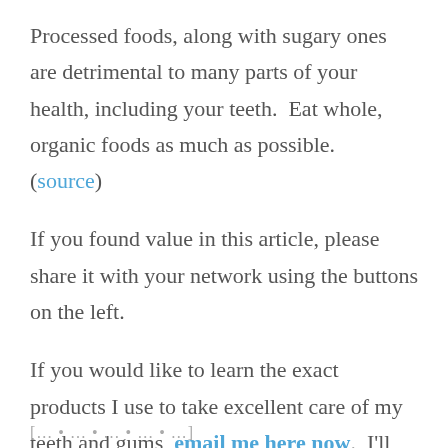Processed foods, along with sugary ones are detrimental to many parts of your health, including your teeth.  Eat whole, organic foods as much as possible.  (source)
If you found value in this article, please share it with your network using the buttons on the left.
If you would like to learn the exact products I use to take excellent care of my teeth and gums, email me here now.  I'll reply within 24 hours to set up a phone chat and a free consultation for you. Talk to you soon! Luba
[…to be continued…]